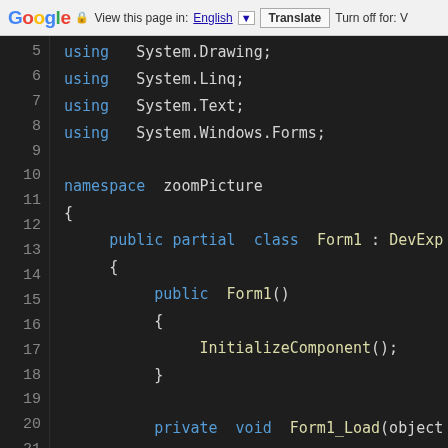Google Translate bar: View this page in: English | Translate | Turn off for: V
[Figure (screenshot): Code editor screenshot showing C# source code lines 5-21. Lines 5-8: using directives (System.Drawing, System.Linq, System.Text, System.Windows.Forms). Line 9: blank. Line 10: namespace zoomPicture. Line 11: {. Line 12: public partial class Form1 : DevExpr... Line 13: {. Line 14: public Form1(). Line 15: {. Line 16: InitializeComponent();. Line 17: }. Line 18: blank. Line 19: private void Form1_Load(object. Line 20: {. Line 21: pictureEdit1.Image =]